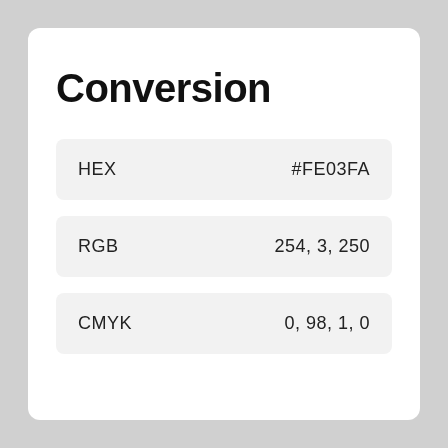Conversion
| Property | Value |
| --- | --- |
| HEX | #FE03FA |
| RGB | 254, 3, 250 |
| CMYK | 0, 98, 1, 0 |